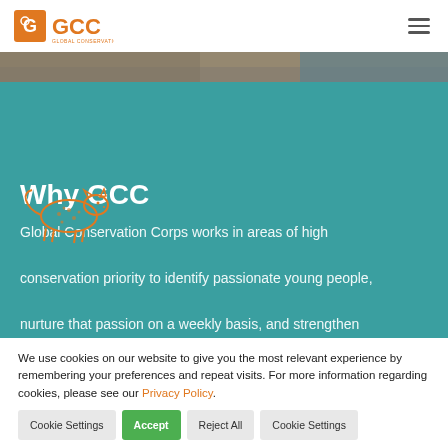GCC Global Conservation Corps
[Figure (illustration): Orange outline illustration of a leopard/cheetah walking]
Why GCC
Global Conservation Corps works in areas of high conservation priority to identify passionate young people, nurture that passion on a weekly basis, and strengthen
We use cookies on our website to give you the most relevant experience by remembering your preferences and repeat visits. For more information regarding cookies, please see our Privacy Policy.
Cookie Settings
Accept
Reject All
Cookie Settings